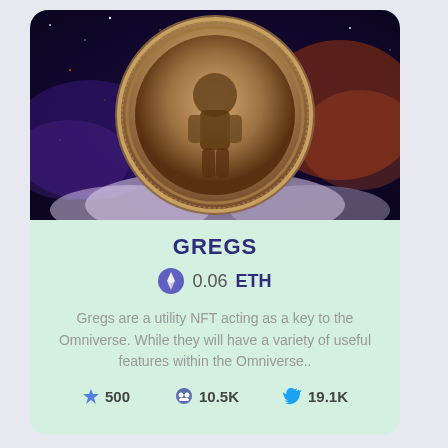[Figure (illustration): NFT card showing a fantasy coin with a humanoid figure floating in a cosmic nebula/galaxy background with purple and orange cosmic clouds]
GREGS
0.06 ETH
Gregs are a utility NFT acting as a key to the Omniverse. While they will have a variety of useful features within the Omniverse..
500  10.5K  19.1K